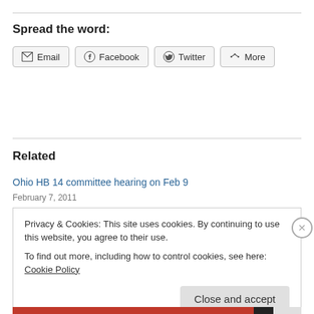Spread the word:
[Figure (other): Social sharing buttons: Email, Facebook, Twitter, More]
Related
Ohio HB 14 committee hearing on Feb 9
February 7, 2011
Privacy & Cookies: This site uses cookies. By continuing to use this website, you agree to their use.
To find out more, including how to control cookies, see here: Cookie Policy
Close and accept